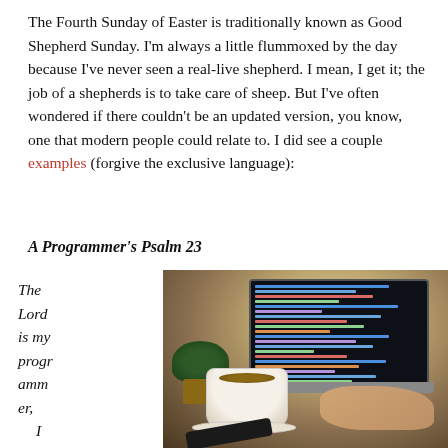The Fourth Sunday of Easter is traditionally known as Good Shepherd Sunday. I'm always a little flummoxed by the day because I've never seen a real-live shepherd. I mean, I get it; the job of a shepherds is to take care of sheep. But I've often wondered if there couldn't be an updated version, you know, one that modern people could relate to. I did see a couple examples (forgive the exclusive language):
A Programmer's Psalm 23
The Lord is my programmer, 
    I shall not
[Figure (photo): A person typing on a laptop with code on the screen, a coffee cup and plant visible on the desk]